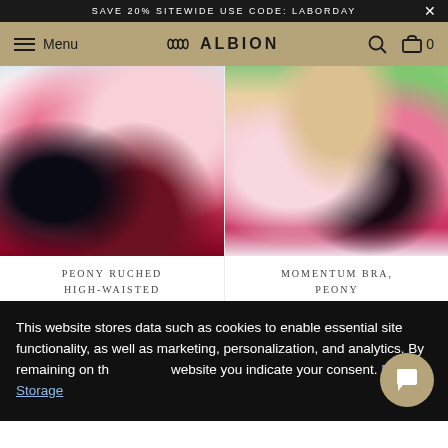SAVE 20% SITEWIDE USE CODE: LABORDAY
Menu | ALBION | Search | Cart 0
[Figure (photo): Close-up of a model wearing a pink and black floral ruched high-waisted bikini bottom with pool/outdoor background]
[Figure (photo): Blonde model wearing a pink and black floral momentum bra bikini top, smiling near a pool]
PEONY RUCHED HIGH-WAISTED
MOMENTUM BRA, PEONY
This website stores data such as cookies to enable essential site functionality, as well as marketing, personalization, and analytics. By remaining on this website you indicate your consent. Data Storage